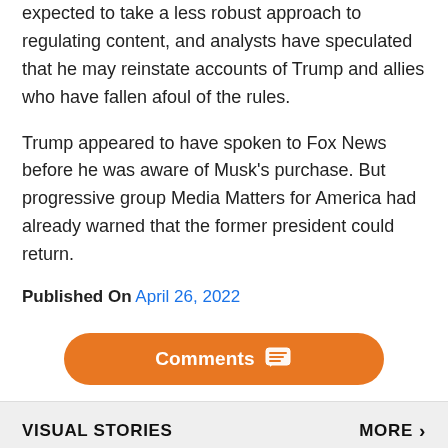expected to take a less robust approach to regulating content, and analysts have speculated that he may reinstate accounts of Trump and allies who have fallen afoul of the rules.
Trump appeared to have spoken to Fox News before he was aware of Musk's purchase. But progressive group Media Matters for America had already warned that the former president could return.
Published On April 26, 2022
[Figure (other): Orange rounded button labeled 'Comments' with a chat icon]
VISUAL STORIES
MORE >